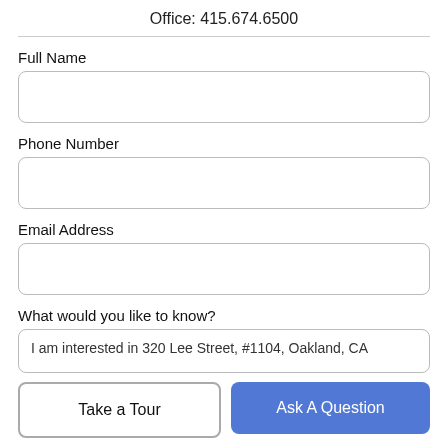Office: 415.674.6500
Full Name
Phone Number
Email Address
What would you like to know?
I am interested in 320 Lee Street, #1104, Oakland, CA
Take a Tour
Ask A Question